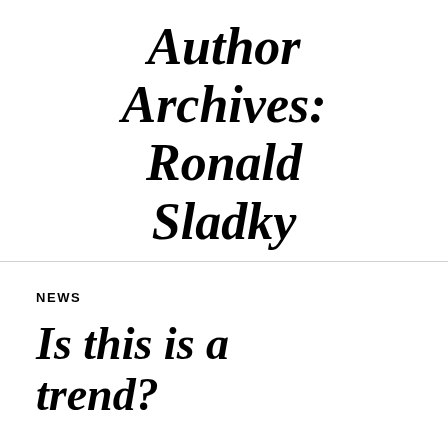Author Archives: Ronald Sladky
NEWS
Is this is a trend?